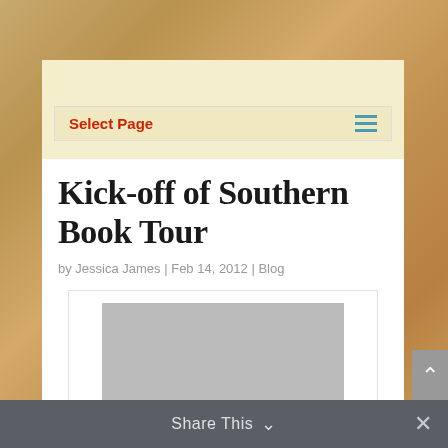Select Page
Kick-off of Southern Book Tour
by Jessica James | Feb 14, 2012 | Blog
[Figure (photo): Gray placeholder image for a photo related to the Southern Book Tour blog post]
Share This